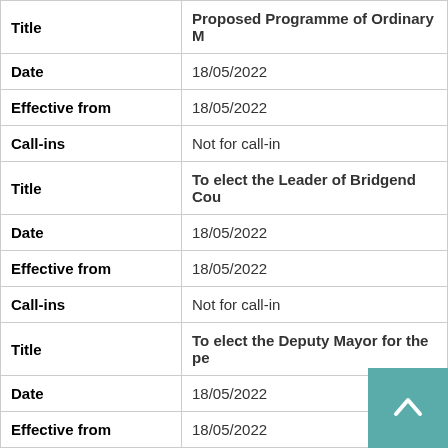| Field | Value |
| --- | --- |
| Title | Proposed Programme of Ordinary M |
| Date | 18/05/2022 |
| Effective from | 18/05/2022 |
| Call-ins | Not for call-in |
| Title | To elect the Leader of Bridgend Cou |
| Date | 18/05/2022 |
| Effective from | 18/05/2022 |
| Call-ins | Not for call-in |
| Title | To elect the Deputy Mayor for the pe |
| Date | 18/05/2022 |
| Effective from | 18/05/2022 |
| Call-ins | Not for call-in |
| Title | To elect the Mayor for the period to M |
| Date | 18/05/2022 |
| Effective from | 18/05/2022 |